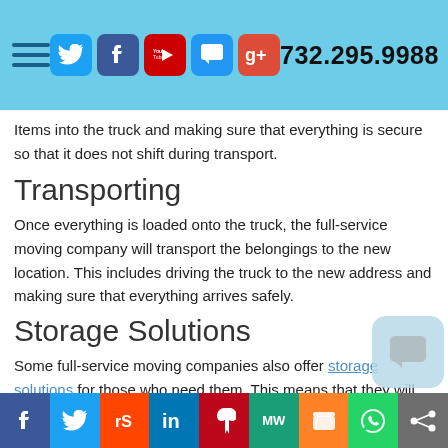732.295.9988
Items into the truck and making sure that everything is secure so that it does not shift during transport.
Transporting
Once everything is loaded onto the truck, the full-service moving company will transport the belongings to the new location. This includes driving the truck to the new address and making sure that everything arrives safely.
Storage Solutions
Some full-service moving companies also offer storage solutions for those who need them. This means that they will pick up the belongings and store them in a secure location until the customer is ready to have them delivered to their new home or office.
Social share bar: Facebook, Twitter, Reddit, LinkedIn, Pinterest, MW, Mix, WhatsApp, Share